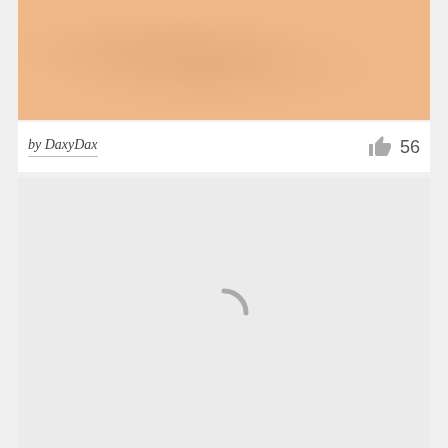[Figure (photo): Cropped beige/peach textured paper or surface image, partially visible at top of page]
by DaxyDax
56
[Figure (other): Light gray loading panel with a circular loading spinner icon in the center]